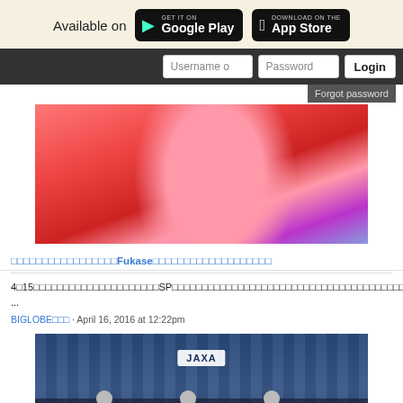[Figure (screenshot): App store badges: Google Play and App Store, with 'Available on' text]
[Figure (screenshot): Navigation bar with Username, Password fields and Login button, with Forgot password dropdown]
[Figure (photo): Photo of a woman with pink hair in colorful fashion costume]
□□□□□□□□□□□□□□□□□Fukase□□□□□□□□□□□□□□□□□□□
4□15□□□□□□□□□□□□□□□□□□□□□SP□□□□□□□□□□□□□□□□□□□□□□□□□□□□□□□□□□□□□□□□□□□□□□□□□□□□□□□□□□□□□□□□□□□□□□□□□□□□□□□□□□□□□ ...
BIGLOBE□□□ · April 16, 2016 at 12:22pm
[Figure (photo): JAXA press conference with three people seated at a table in front of blue curtain with JAXA logo]
X□□□□□□□□□□□□□□□□JAXA□□□□□□□□□□